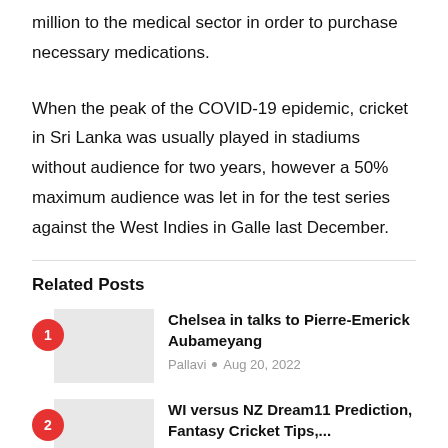million to the medical sector in order to purchase necessary medications.
When the peak of the COVID-19 epidemic, cricket in Sri Lanka was usually played in stadiums without audience for two years, however a 50% maximum audience was let in for the test series against the West Indies in Galle last December.
Related Posts
1. Chelsea in talks to Pierre-Emerick Aubameyang — Pallavi • Aug 20, 2022
2. WI versus NZ Dream11 Prediction, Fantasy Cricket Tips,...